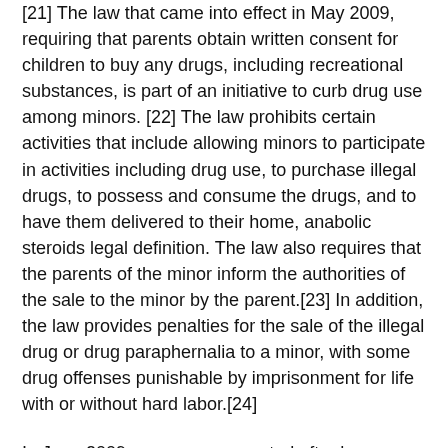[21] The law that came into effect in May 2009, requiring that parents obtain written consent for children to buy any drugs, including recreational substances, is part of an initiative to curb drug use among minors. [22] The law prohibits certain activities that include allowing minors to participate in activities including drug use, to purchase illegal drugs, to possess and consume the drugs, and to have them delivered to their home, anabolic steroids legal definition. The law also requires that the parents of the minor inform the authorities of the sale to the minor by the parent.[23] In addition, the law provides penalties for the sale of the illegal drug or drug paraphernalia to a minor, with some drug offenses punishable by imprisonment for life with or without hard labor.[24]
In June 2009, a man was arrested after he reportedly purchased a large amount of